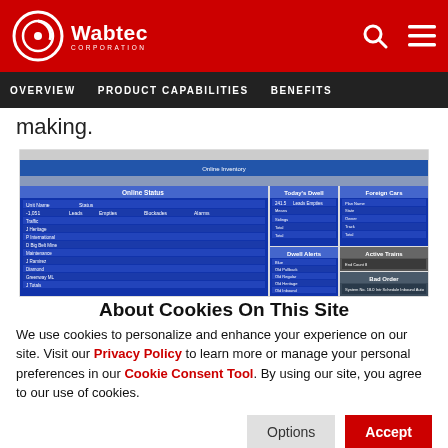Wabtec Corporation - OVERVIEW | PRODUCT CAPABILITIES | BENEFITS
making.
[Figure (screenshot): Screenshot of Wabtec YAWTECS RAILROAD Online Inventory dashboard showing Online Status, Today's Dwell, Foreign Cars, Active Trains, and Bad Order panels with tabular data on dark blue background.]
About Cookies On This Site
We use cookies to personalize and enhance your experience on our site. Visit our Privacy Policy to learn more or manage your personal preferences in our Cookie Consent Tool. By using our site, you agree to our use of cookies.